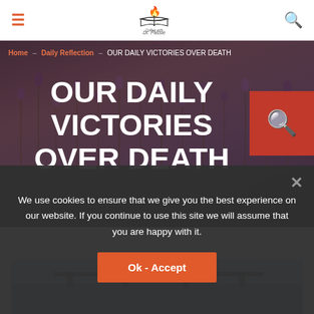≡  [Logo: Coffee with Dr. Passie]  🔍
Home – Daily Reflection – OUR DAILY VICTORIES OVER DEATH
OUR DAILY VICTORIES OVER DEATH
[Figure (photo): River with bridge in background, lavender field photo overlaid with dark purple tint as hero background]
We use cookies to ensure that we give you the best experience on our website. If you continue to use this site we will assume that you are happy with it.
Ok - Accept